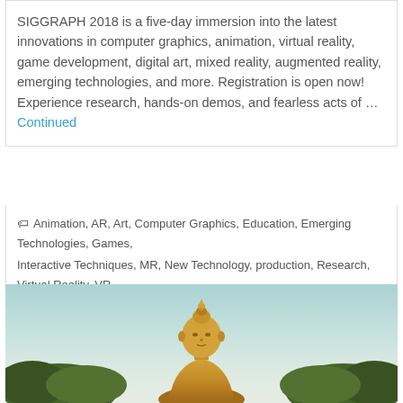SIGGRAPH 2018 is a five-day immersion into the latest innovations in computer graphics, animation, virtual reality, game development, digital art, mixed reality, augmented reality, emerging technologies, and more. Registration is open now! Experience research, hands-on demos, and fearless acts of … Continued
Animation, AR, Art, Computer Graphics, Education, Emerging Technologies, Games, Interactive Techniques, MR, New Technology, production, Research, Virtual Reality, VR
[Figure (photo): A golden Buddha statue centered in the image, against a light blue sky background, with green trees visible at the bottom left and right corners.]